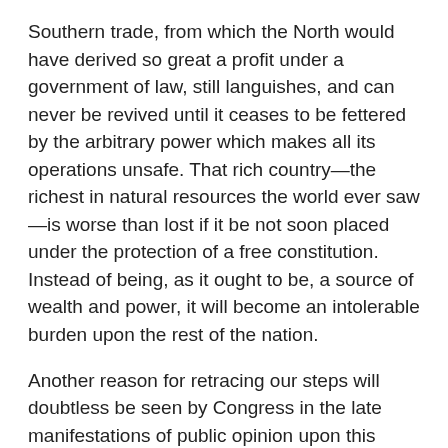Southern trade, from which the North would have derived so great a profit under a government of law, still languishes, and can never be revived until it ceases to be fettered by the arbitrary power which makes all its operations unsafe. That rich country—the richest in natural resources the world ever saw—is worse than lost if it be not soon placed under the protection of a free constitution. Instead of being, as it ought to be, a source of wealth and power, it will become an intolerable burden upon the rest of the nation.
Another reason for retracing our steps will doubtless be seen by Congress in the late manifestations of public opinion upon this subject. We live in a country where the popular will always enforces obedience to itself, sooner or later. It is vain to think of opposing it with anything short of legal authority backed by overwhelming force. It can not have escaped your attention that from the day on which Congress fairly and formally presented the